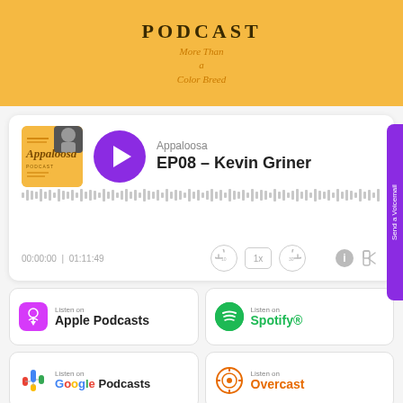PODCAST
More Than
a
Color Breed
[Figure (screenshot): Podcast episode player card for Appaloosa Podcast EP08 - Kevin Griner. Shows album art, purple play button, waveform, time 00:00:00 / 01:11:49, and playback controls.]
[Figure (logo): Listen on Apple Podcasts badge]
[Figure (logo): Listen on Spotify badge]
[Figure (logo): Listen on Google Podcasts badge]
[Figure (logo): Listen on Overcast badge]
[Figure (logo): Listen on Castro badge]
[Figure (logo): Listen on Pocket Casts badge]